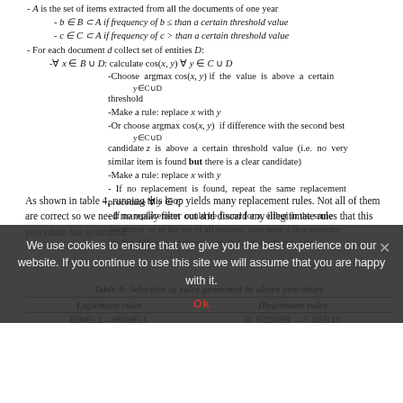A is the set of items extracted from all the documents of one year
b ∈ B ⊂ A if frequency of b ≤ than a certain threshold value
c ∈ C ⊂ A if frequency of c > than a certain threshold value
For each document d collect set of entities D:
∀ x ∈ B ∪ D: calculate cos(x, y) ∀ y ∈ C ∪ D
-Choose argmax cos(x, y) if the value is above a certain threshold
-Make a rule: replace x with y
-Or choose argmax cos(x, y) if difference with the second best candidate z is above a certain threshold value (i.e. no very similar item is found but there is a clear candidate)
-Make a rule: replace x with y
- If no replacement is found, repeat the same replacement procedure ∀ y ∈ C
- If no replacement could be found for x, either in the same document or in the set of all entities, then save x in a separate file for different treatment, which I will explain below.
As shown in table 4, running this loop yields many replacement rules. Not all of them are correct so we need manually filter out and discard any illegitimate rules that this procedure has generated.
Table 4: Selection of rules generated by above procedure
| Legitimate rules | Illegitimate rules |
| --- | --- |
| EOWELL->ROWELL | W.HIDDEN -> DENIS |